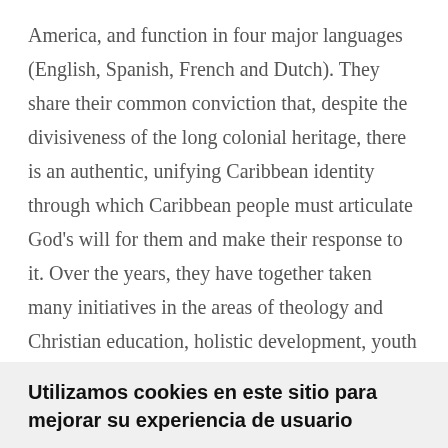America, and function in four major languages (English, Spanish, French and Dutch). They share their common conviction that, despite the divisiveness of the long colonial heritage, there is an authentic, unifying Caribbean identity through which Caribbean people must articulate God's will for them and make their response to it. Over the years, they have together taken many initiatives in the areas of theology and Christian education, holistic development, youth and women's concerns, family life, human rights, and communications. Some of the most significant achievements of the CCC have been the media channels Contact and Caribbeat, the
Utilizamos cookies en este sitio para mejorar su experiencia de usuario